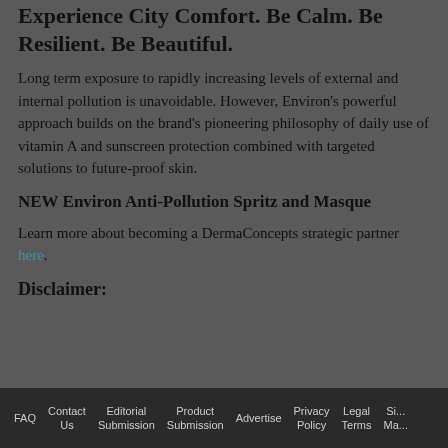Experience City Comfort. Be Calm. Be Resilient. Be Beautiful.
Long term exposure to rapidly increasing levels of external and internal pollution is unavoidable. However, Environ's powerful approach builds on the brand's pioneering philosophy of daily use of vitamin A and sunscreen protection combined with targeted solutions to future-proof skin.
NEW Environ Anti-Pollution Spritz and Masque
Learn more about becoming a DermaConcepts strategic partner here.
Disclaimer:
FAQ  Contact Us  Editorial Submission  Product Submission  Advertise  Privacy Policy  Legal Terms  Si... Ma...